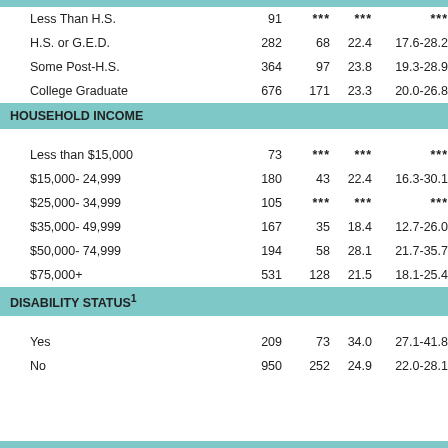|  | N | Yes | % | 95% CI |
| --- | --- | --- | --- | --- |
| Less Than H.S. | 91 | *** | *** | *** |
| H.S. or G.E.D. | 282 | 68 | 22.4 | 17.6-28.2 |
| Some Post-H.S. | 364 | 97 | 23.8 | 19.3-28.9 |
| College Graduate | 676 | 171 | 23.3 | 20.0-26.8 |
| HOUSEHOLD INCOME |  |  |  |  |
| Less than $15,000 | 73 | *** | *** | *** |
| $15,000- 24,999 | 180 | 43 | 22.4 | 16.3-30.1 |
| $25,000- 34,999 | 105 | *** | *** | *** |
| $35,000- 49,999 | 167 | 35 | 18.4 | 12.7-26.0 |
| $50,000- 74,999 | 194 | 58 | 28.1 | 21.7-35.7 |
| $75,000+ | 531 | 128 | 21.5 | 18.1-25.4 |
| DISABILITY STATUS1 |  |  |  |  |
| Yes | 209 | 73 | 34.0 | 27.1-41.8 |
| No | 950 | 252 | 24.9 | 22.0-28.1 |